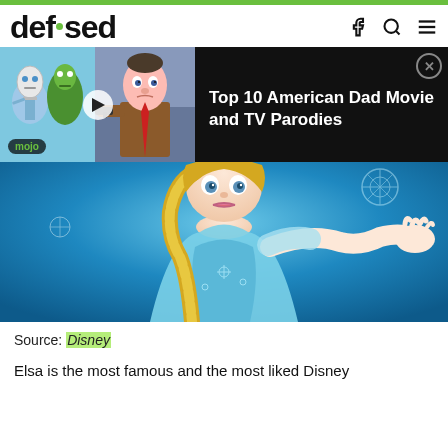defused
[Figure (screenshot): Video ad banner showing Top 10 American Dad Movie and TV Parodies from WatchMojo, with animated characters thumbnail on left and title text on dark background on right]
[Figure (photo): Photo of Elsa from Disney's Frozen, a blonde woman in a blue ice dress with her hand outstretched, blue icy background]
Source: Disney
Elsa is the most famous and the most liked Disney